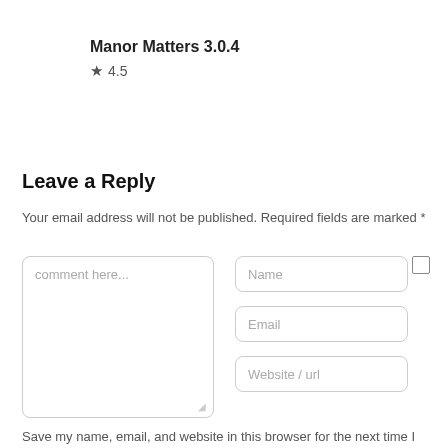Manor Matters 3.0.4
★ 4.5
Leave a Reply
Your email address will not be published. Required fields are marked *
[Figure (screenshot): Web form with comment textarea placeholder 'comment here...', input fields for Name, Email, Website/url, and a checkbox]
Save my name, email, and website in this browser for the next time I comment.